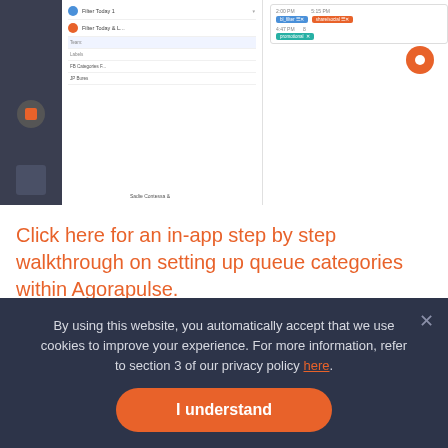[Figure (screenshot): Screenshot of Agorapulse app interface showing a scheduling/queue panel with sidebar navigation, content list with avatars and labels, and calendar/tag cards on the right side with blue and orange tags. An orange notification dot is visible in the upper right.]
Click here for an in-app step by step walkthrough on setting up queue categories within Agorapulse.
Select 'Add to queue' and 'Next' to add this post to each profile's queue for automatic publishing.
By using this website, you automatically accept that we use cookies to improve your experience. For more information, refer to section 3 of our privacy policy here.
I understand